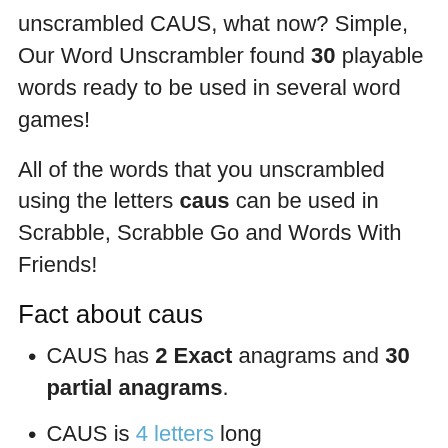unscrambled CAUS, what now? Simple, Our Word Unscrambler found 30 playable words ready to be used in several word games!
All of the words that you unscrambled using the letters caus can be used in Scrabble, Scrabble Go and Words With Friends!
Fact about caus
CAUS has 2 Exact anagrams and 30 partial anagrams.
CAUS is 4 letters long
CAUS starts with C